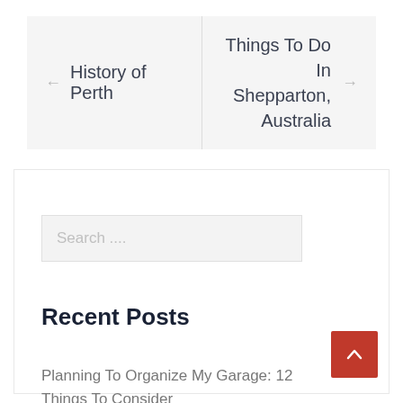← History of Perth
Things To Do In Shepparton, Australia →
Search ....
Recent Posts
Planning To Organize My Garage: 12 Things To Consider